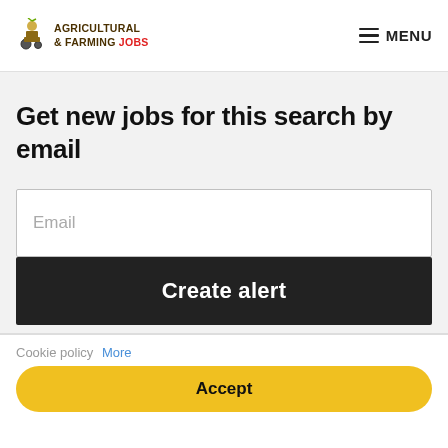AGRICULTURAL & FARMING JOBS  ☰ MENU
Get new jobs for this search by email
Email
Create alert
By submitting your details you agree to our Terms & Conditions
View here
Cookie policy More
Accept